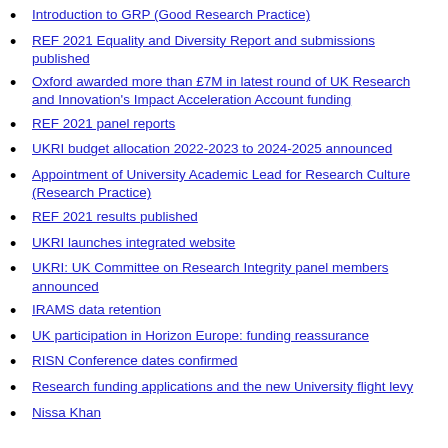Introduction to GRP (Good Research Practice)
REF 2021 Equality and Diversity Report and submissions published
Oxford awarded more than £7M in latest round of UK Research and Innovation's Impact Acceleration Account funding
REF 2021 panel reports
UKRI budget allocation 2022-2023 to 2024-2025 announced
Appointment of University Academic Lead for Research Culture (Research Practice)
REF 2021 results published
UKRI launches integrated website
UKRI: UK Committee on Research Integrity panel members announced
IRAMS data retention
UK participation in Horizon Europe: funding reassurance
RISN Conference dates confirmed
Research funding applications and the new University flight levy
Nissa Khan